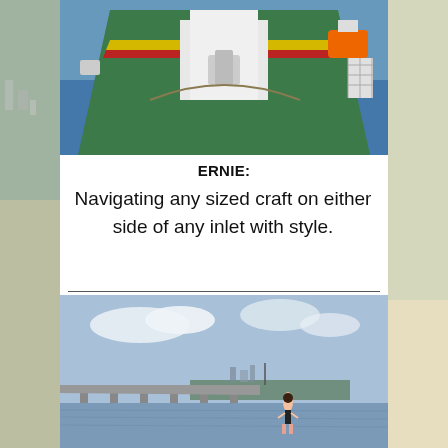[Figure (photo): Aerial view of a large cargo ship deck viewed from the bow, showing green deck, white superstructure, orange lifeboat, ocean on both sides]
ERNIE:
Navigating any sized craft on either side of any inlet with style.
[Figure (photo): Person standing near water with a bridge and town skyline in the background, cloudy sky]